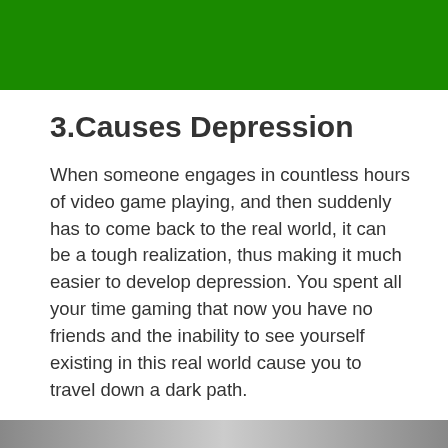[Figure (other): Solid green rectangular banner at the top of the page]
3.Causes Depression
When someone engages in countless hours of video game playing, and then suddenly has to come back to the real world, it can be a tough realization, thus making it much easier to develop depression. You spent all your time gaming that now you have no friends and the inability to see yourself existing in this real world cause you to travel down a dark path.
[Figure (other): Gray gradient bar at the bottom of the page]